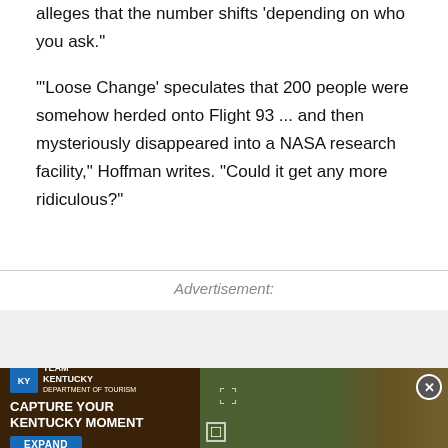alleges that the number shifts 'depending on who you ask.'
'Loose Change' speculates that 200 people were somehow herded onto Flight 93 ... and then mysteriously disappeared into a NASA research facility," Hoffman writes. "Could it get any more ridiculous?"
Advertisement:
[Figure (infographic): Advertisement banner for Team Kentucky: 'Capture Your Kentucky Moment' with Expand button, overlaid on a photo of wooden barrels in a field, with a close button (X) in the top right corner.]